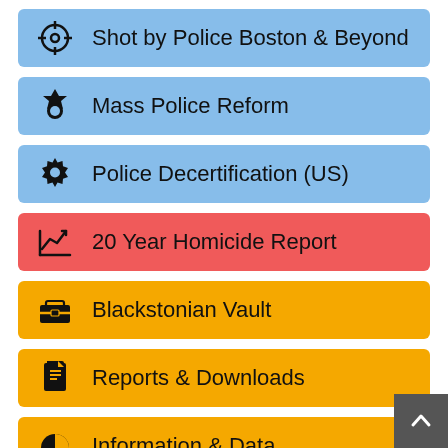Shot by Police Boston & Beyond
Mass Police Reform
Police Decertification (US)
20 Year Homicide Report
Blackstonian Vault
Reports & Downloads
Information & Data
Food & Hunger
Blackstonian Bounce